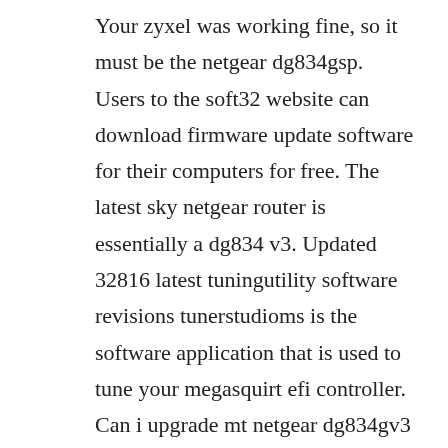Your zyxel was working fine, so it must be the netgear dg834gsp. Users to the soft32 website can download firmware update software for their computers for free. The latest sky netgear router is essentially a dg834 v3. Updated 32816 latest tuningutility software revisions tunerstudioms is the software application that is used to tune your megasquirt efi controller. Can i upgrade mt netgear dg834gv3 with this firmware. Netgear dg 834 series firmware upgrade netgear dg 834 series firmware upgrade aim of this article. How to use netgear dg834g v3 as an